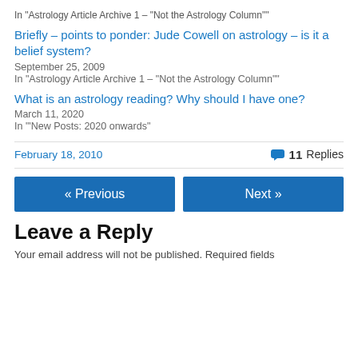In "Astrology Article Archive 1 – "Not the Astrology Column""
Briefly – points to ponder: Jude Cowell on astrology – is it a belief system?
September 25, 2009
In "Astrology Article Archive 1 – "Not the Astrology Column""
What is an astrology reading? Why should I have one?
March 11, 2020
In "'New Posts: 2020 onwards"
February 18, 2010
11 Replies
« Previous
Next »
Leave a Reply
Your email address will not be published. Required fields